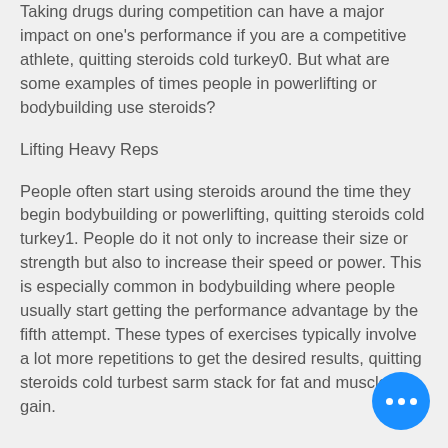Taking drugs during competition can have a major impact on one's performance if you are a competitive athlete, quitting steroids cold turkey0. But what are some examples of times people in powerlifting or bodybuilding use steroids?
Lifting Heavy Reps
People often start using steroids around the time they begin bodybuilding or powerlifting, quitting steroids cold turkey1. People do it not only to increase their size or strength but also to increase their speed or power. This is especially common in bodybuilding where people usually start getting the performance advantage by the fifth attempt. These types of exercises typically involve a lot more repetitions to get the desired results, quitting steroids cold turbest sarm stack for fat and muscle gain.